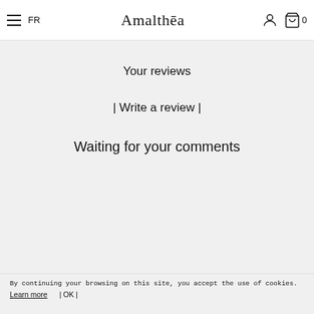≡  FR  Amalthēa  [user icon] [cart icon] 0
Your reviews
| Write a review |
Waiting for your comments
By continuing your browsing on this site, you accept the use of cookies. Learn more | OK |